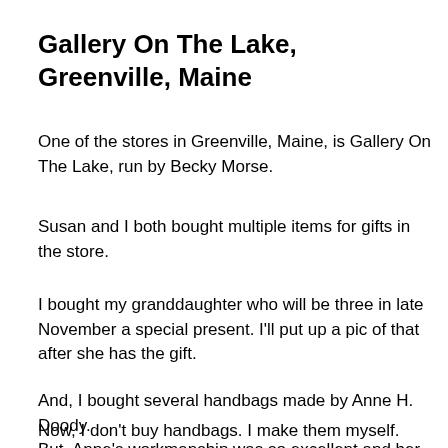Gallery On The Lake, Greenville, Maine
One of the stores in Greenville, Maine, is Gallery On The Lake, run by Becky Morse.
Susan and I both bought multiple items for gifts in the store.
I bought my granddaughter who will be three in late November a special present.  I'll put up a pic of that after she has the gift.
And, I bought several handbags made by Anne H. Doody.
Now, I don't buy handbags.  I make them myself.
But, Anne's workmanship was so excellent and her fabric